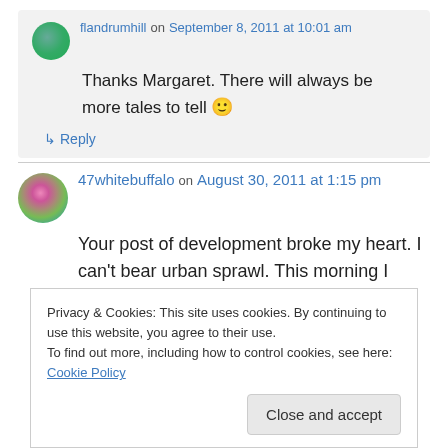flandrumhill on September 8, 2011 at 10:01 am
Thanks Margaret. There will always be more tales to tell 🙂
↳ Reply
47whitebuffalo on August 30, 2011 at 1:15 pm
Your post of development broke my heart. I can't bear urban sprawl. This morning I heard NO
Privacy & Cookies: This site uses cookies. By continuing to use this website, you agree to their use.
To find out more, including how to control cookies, see here: Cookie Policy
Close and accept
ourselves with it.